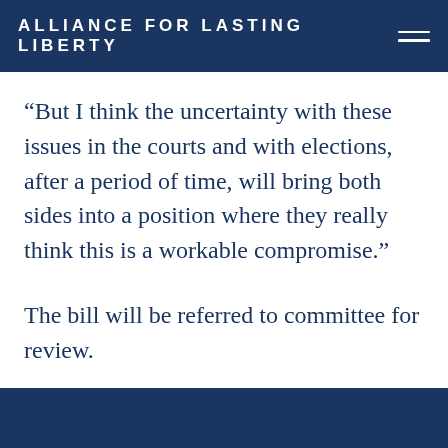ALLIANCE FOR LASTING LIBERTY
“But I think the uncertainty with these issues in the courts and with elections, after a period of time, will bring both sides into a position where they really think this is a workable compromise.”
The bill will be referred to committee for review.